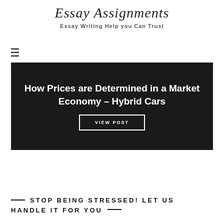Essay Assignments
Essay Writing Help you Can Trust
[Figure (screenshot): Black banner image with white bold text reading 'How Prices are Determined in a Market Economy – Hybrid Cars' and a 'VIEW POST' button with white border]
How Prices are Determined in a Market Economy – Hybrid Cars
VIEW POST
STOP BEING STRESSED! LET US HANDLE IT FOR YOU